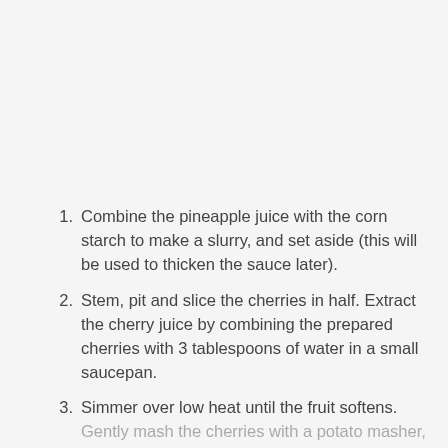Combine the pineapple juice with the corn starch to make a slurry, and set aside (this will be used to thicken the sauce later).
Stem, pit and slice the cherries in half. Extract the cherry juice by combining the prepared cherries with 3 tablespoons of water in a small saucepan.
Simmer over low heat until the fruit softens. Gently mash the cherries with a potato masher, and continue simmering until the ...